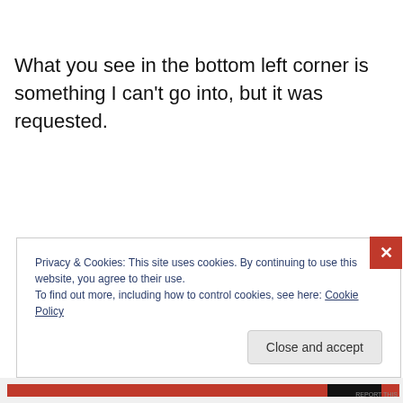What you see in the bottom left corner is something I can't go into, but it was requested.
Privacy & Cookies: This site uses cookies. By continuing to use this website, you agree to their use.
To find out more, including how to control cookies, see here: Cookie Policy
Close and accept